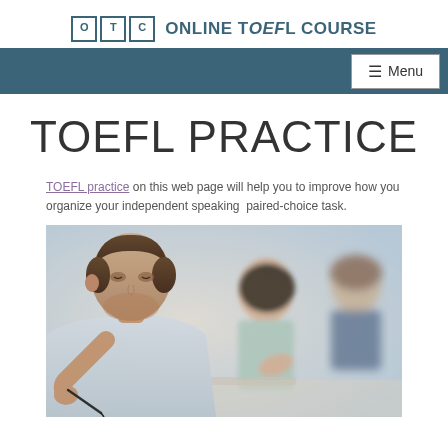OTC Online TOEFL Course
TOEFL PRACTICE
TOEFL practice on this web page will help you to improve how you organize your independent speaking paired-choice task.
[Figure (photo): Students sitting at desks writing/studying; a young man in foreground writing with a pen, women students visible in background, slightly blurred depth-of-field effect]